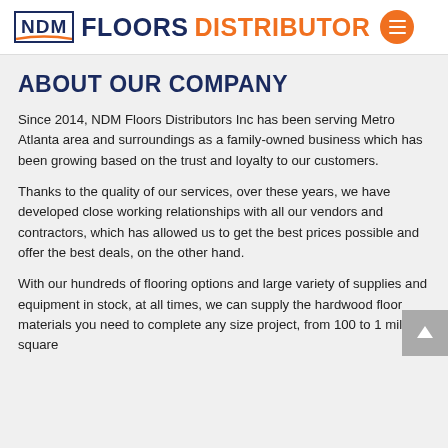NDM FLOORS DISTRIBUTOR
ABOUT OUR COMPANY
Since 2014, NDM Floors Distributors Inc has been serving Metro Atlanta area and surroundings as a family-owned business which has been growing based on the trust and loyalty to our customers.
Thanks to the quality of our services, over these years, we have developed close working relationships with all our vendors and contractors, which has allowed us to get the best prices possible and offer the best deals, on the other hand.
With our hundreds of flooring options and large variety of supplies and equipment in stock, at all times, we can supply the hardwood floor materials you need to complete any size project, from 100 to 1 million square feet, we can make the best recommendation to the